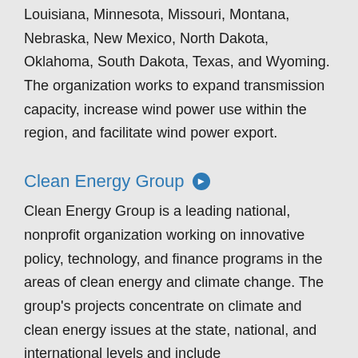Louisiana, Minnesota, Missouri, Montana, Nebraska, New Mexico, North Dakota, Oklahoma, South Dakota, Texas, and Wyoming. The organization works to expand transmission capacity, increase wind power use within the region, and facilitate wind power export.
Clean Energy Group
Clean Energy Group is a leading national, nonprofit organization working on innovative policy, technology, and finance programs in the areas of clean energy and climate change. The group's projects concentrate on climate and clean energy issues at the state, national, and international levels and include